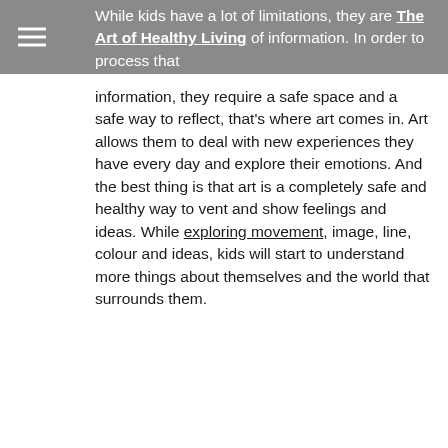The Art of Healthy Living
While kids have a lot of limitations, they are bombarded by a lot of information. In order to process that information, they require a safe space and a safe way to reflect, that's where art comes in. Art allows them to deal with new experiences they have every day and explore their emotions. And the best thing is that art is a completely safe and healthy way to vent and show feelings and ideas. While exploring movement, image, line, colour and ideas, kids will start to understand more things about themselves and the world that surrounds them.